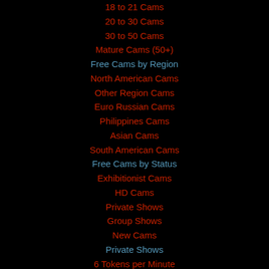18 to 21 Cams
20 to 30 Cams
30 to 50 Cams
Mature Cams (50+)
Free Cams by Region
North American Cams
Other Region Cams
Euro Russian Cams
Philippines Cams
Asian Cams
South American Cams
Free Cams by Status
Exhibitionist Cams
HD Cams
Private Shows
Group Shows
New Cams
Private Shows
6 Tokens per Minute
12 Tokens per Minute
18 Tokens per Minute
30 Tokens per Minute
60 Tokens per Minute